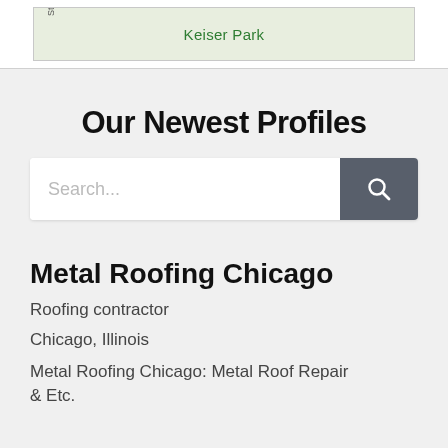[Figure (map): Partial map view showing Keiser Park label on a green area, with a street label on the left side.]
Our Newest Profiles
Search...
Metal Roofing Chicago
Roofing contractor
Chicago, Illinois
Metal Roofing Chicago: Metal Roof Repair & Etc.